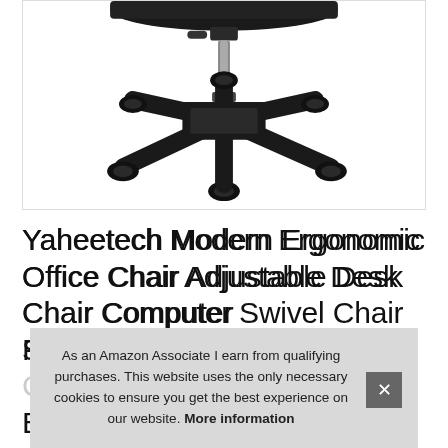[Figure (photo): Bottom view of a black office chair showing the five-star base with casters and central hydraulic post on white background]
Yaheetech Modern Ergonomic Office Chair Adjustable Desk Chair Computer Swivel Chair Fabric Mesh Chair with Back Support Lumbar Support Stool...
As an Amazon Associate I earn from qualifying purchases. This website uses the only necessary cookies to ensure you get the best experience on our website. More information